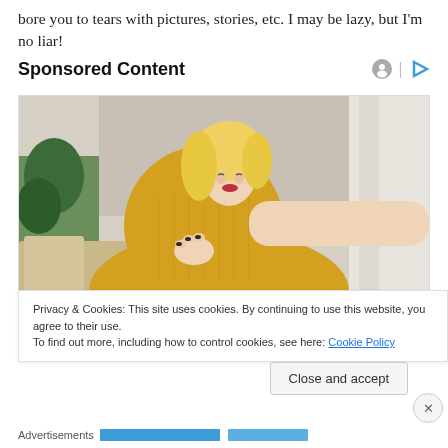bore you to tears with pictures, stories, etc. I may be lazy, but I'm no liar!
Sponsored Content
[Figure (photo): Woman in yellow sweater scratching her arm, sitting on a couch with plants in background]
Privacy & Cookies: This site uses cookies. By continuing to use this website, you agree to their use.
To find out more, including how to control cookies, see here: Cookie Policy
Close and accept
Advertisements